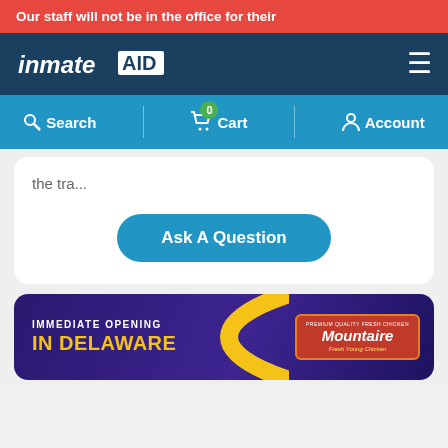Our staff will not be in the office for their
[Figure (logo): InmateAID logo - white text on dark navy background with green star accent]
Search | 0 Cart | Account
the tra...
Ask A Question
[Figure (illustration): Mountaire Farms advertisement banner - purple/dark blue background with gold curve accent, text reading IMMEDIATE OPENING IN DELAWARE with Mountaire Fresh Young Chicken logo on right]